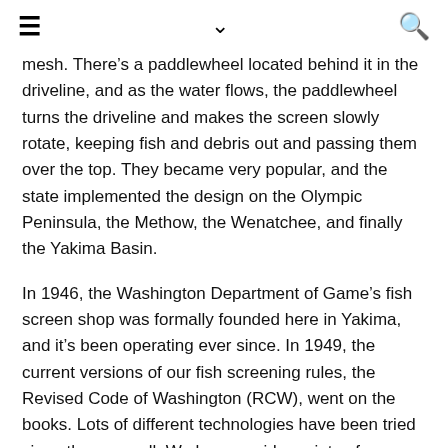≡  ∨  🔍
mesh. There's a paddlewheel located behind it in the driveline, and as the water flows, the paddlewheel turns the driveline and makes the screen slowly rotate, keeping fish and debris out and passing them over the top. They became very popular, and the state implemented the design on the Olympic Peninsula, the Methow, the Wenatchee, and finally the Yakima Basin.
In 1946, the Washington Department of Game's fish screen shop was formally founded here in Yakima, and it's been operating ever since. In 1949, the current versions of our fish screening rules, the Revised Code of Washington (RCW), went on the books. Lots of different technologies have been tried since then as well. We have a wide variety of screen types now, including pump screens; gravity screens; rotating drum screens; horizontal screens; and belt screens, which are like conveyor belts. Our screen